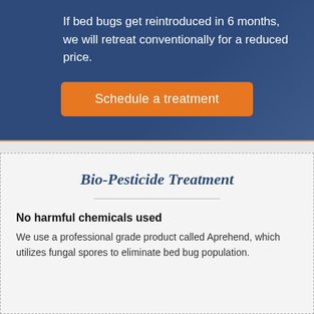If bed bugs get reintroduced in 6 months, we will retreat conventionally for a reduced price.
[Figure (other): Orange call-to-action button labeled 'Schedule a treatment' on a dark blue background]
Bio-Pesticide Treatment
No harmful chemicals used
We use a professional grade product called Aprehend, which utilizes fungal spores to eliminate bed bug population.